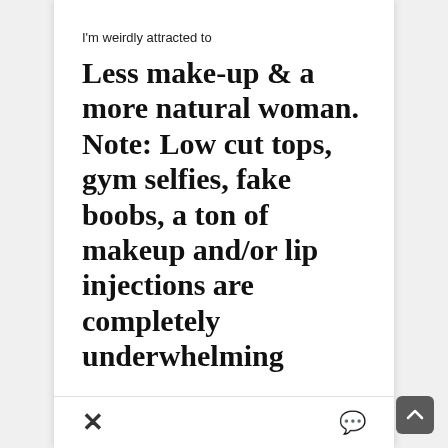I'm weirdly attracted to
Less make-up & a more natural woman. Note: Low cut tops, gym selfies, fake boobs, a ton of makeup and/or lip injections are completely underwhelming